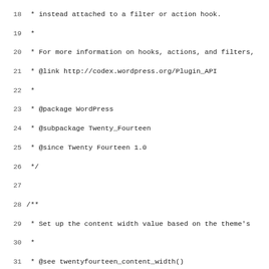Code listing lines 18-50: WordPress Twenty Fourteen theme functions.php PHP source code showing doc comments and setup code